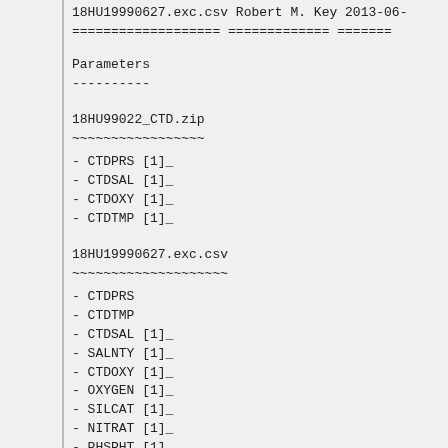18HU19990627.exc.csv Robert M. Key 2013-06-
=================== ============= =======
Parameters
----------
18HU99022_CTD.zip
~~~~~~~~~~~~~~~~~
- CTDPRS [1]_
- CTDSAL [1]_
- CTDOXY [1]_
- CTDTMP [1]_
18HU19990627.exc.csv
~~~~~~~~~~~~~~~~~~~~
- CTDPRS
- CTDTMP
- CTDSAL [1]_
- SALNTY [1]_
- CTDOXY [1]_
- OXYGEN [1]_
- SILCAT [1]_
- NITRAT [1]_
- PHSPHT [1]_